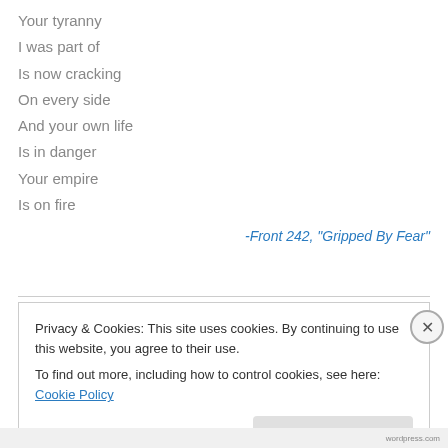Your tyranny
I was part of
Is now cracking
On every side
And your own life
Is in danger
Your empire
Is on fire
-Front 242, "Gripped By Fear"
Privacy & Cookies: This site uses cookies. By continuing to use this website, you agree to their use.
To find out more, including how to control cookies, see here: Cookie Policy
Close and accept